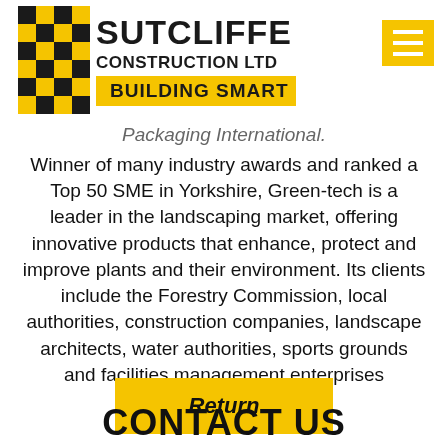[Figure (logo): Sutcliffe Construction Ltd logo with black and yellow checkered pattern and 'BUILDING SMART' tagline]
Packaging International.
Winner of many industry awards and ranked a Top 50 SME in Yorkshire, Green-tech is a leader in the landscaping market, offering innovative products that enhance, protect and improve plants and their environment. Its clients include the Forestry Commission, local authorities, construction companies, landscape architects, water authorities, sports grounds and facilities management enterprises throughout the UK.
Return
CONTACT US